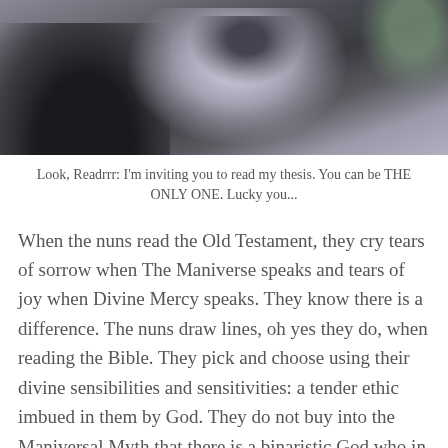[Figure (photo): A person in a grey hoodie holding objects, with a dark figure in the foreground, partially cropped photo]
Look, Readrrr: I'm inviting you to read my thesis. You can be THE ONLY ONE. Lucky you...
When the nuns read the Old Testament, they cry tears of sorrow when The Maniverse speaks and tears of joy when Divine Mercy speaks. They know there is a difference. The nuns draw lines, oh yes they do, when reading the Bible. They pick and choose using their divine sensibilities and sensitivities: a tender ethic imbued in them by God. They do not buy into the Maniversal Myth that there is a binaristic God who in a fit of interplanetary bi-polarism sometimes chooses violence and sometimes chooses mercy. God is a God of mercy. The Maniverse breeds hate, violence, and